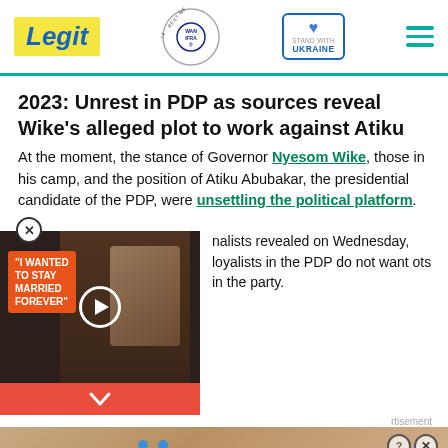Legit | WAN IFRA 2021 Best News Website in Africa | Stand with Ukraine
2023: Unrest in PDP as sources reveal Wike's alleged plot to work against Atiku
At the moment, the stance of Governor Nyesom Wike, those in his camp, and the position of Atiku Abubakar, the presidential candidate of the PDP, were unsettling the political platform.
nalists revealed on Wednesday, loyalists in the PDP do not want ots in the party.
[Figure (photo): Video thumbnail showing two people with overlay text 'I WANTED TO STAY MARRIED FOREVER' on orange background with play button]
[Figure (photo): Advertisement banner showing 'Hold and Move' with cartoon figures]